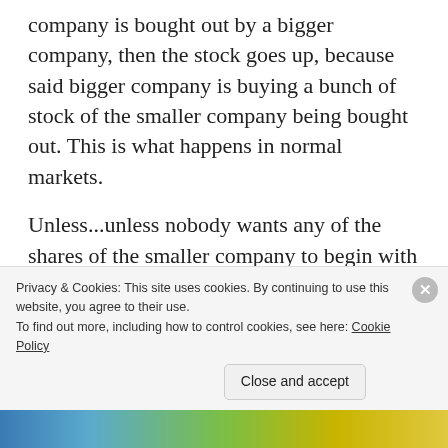company is bought out by a bigger company, then the stock goes up, because said bigger company is buying a bunch of stock of the smaller company being bought out. This is what happens in normal markets.
Unless...unless nobody wants any of the shares of the smaller company to begin with and they all think the big company is insane to buy up the smaller company because all they sell is solar powered flashlights, so everyone sells all their shares to the bigger company and the
Privacy & Cookies: This site uses cookies. By continuing to use this website, you agree to their use.
To find out more, including how to control cookies, see here: Cookie Policy